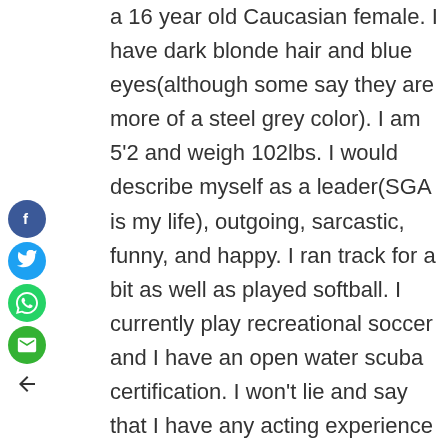[Figure (other): Social media sharing sidebar with Facebook, Twitter, WhatsApp, Email icons and a back arrow]
a 16 year old Caucasian female. I have dark blonde hair and blue eyes(although some say they are more of a steel grey color). I am 5'2 and weigh 102lbs. I would describe myself as a leader(SGA is my life), outgoing, sarcastic, funny, and happy. I ran track for a bit as well as played softball. I currently play recreational soccer and I have an open water scuba certification. I won't lie and say that I have any acting experience because I don't. However I am a pretty quick learner and I hope you will consider me for one of the roles in this production. I look